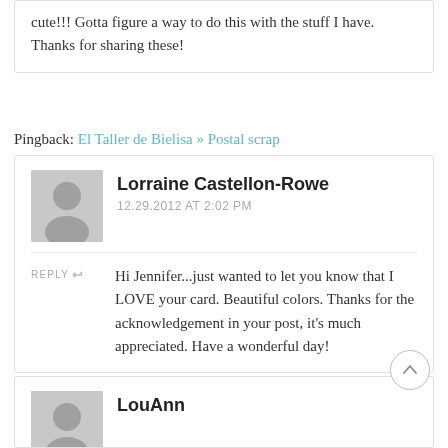cute!!! Gotta figure a way to do this with the stuff I have. Thanks for sharing these!
Pingback: El Taller de Bielisa » Postal scrap
Lorraine Castellon-Rowe
12.29.2012 AT 2:02 PM
REPLY
Hi Jennifer...just wanted to let you know that I LOVE your card. Beautiful colors. Thanks for the acknowledgement in your post, it's much appreciated. Have a wonderful day!
LouAnn